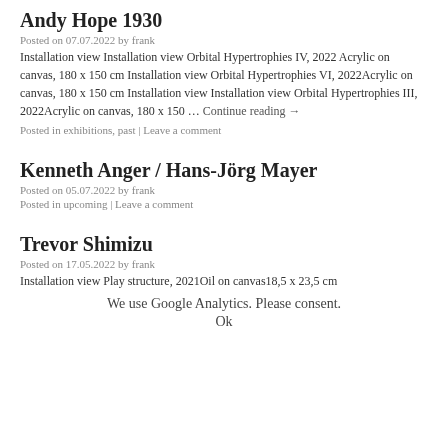Andy Hope 1930
Posted on 07.07.2022 by frank
Installation view Installation view Orbital Hypertrophies IV, 2022 Acrylic on canvas, 180 x 150 cm Installation view Orbital Hypertrophies VI, 2022Acrylic on canvas, 180 x 150 cm Installation view Installation view Orbital Hypertrophies III, 2022Acrylic on canvas, 180 x 150 … Continue reading →
Posted in exhibitions, past | Leave a comment
Kenneth Anger / Hans-Jörg Mayer
Posted on 05.07.2022 by frank
Posted in upcoming | Leave a comment
Trevor Shimizu
Posted on 17.05.2022 by frank
Installation view Play structure, 2021Oil on canvas18,5 x 23,5 cm
We use Google Analytics. Please consent.
Ok